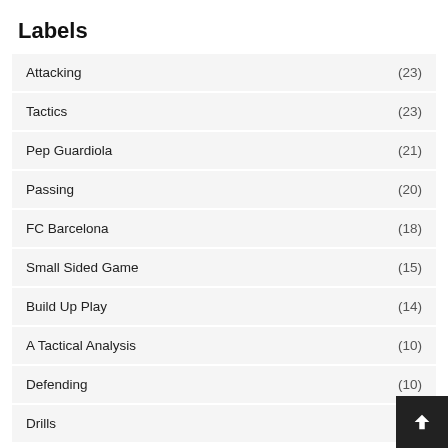Labels
Attacking (23)
Tactics (23)
Pep Guardiola (21)
Passing (20)
FC Barcelona (18)
Small Sided Game (15)
Build Up Play (14)
A Tactical Analysis (10)
Defending (10)
Drills